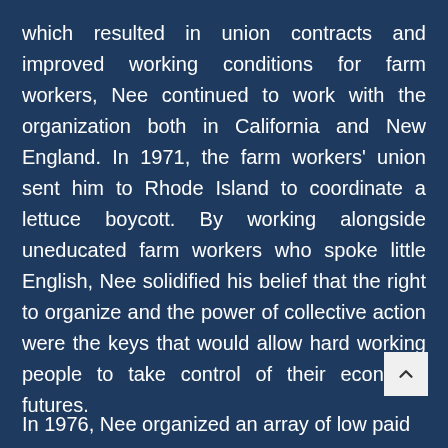which resulted in union contracts and improved working conditions for farm workers, Nee continued to work with the organization both in California and New England. In 1971, the farm workers' union sent him to Rhode Island to coordinate a lettuce boycott. By working alongside uneducated farm workers who spoke little English, Nee solidified his belief that the right to organize and the power of collective action were the keys that would allow hard working people to take control of their economic futures.
In 1976, Nee organized an array of low paid